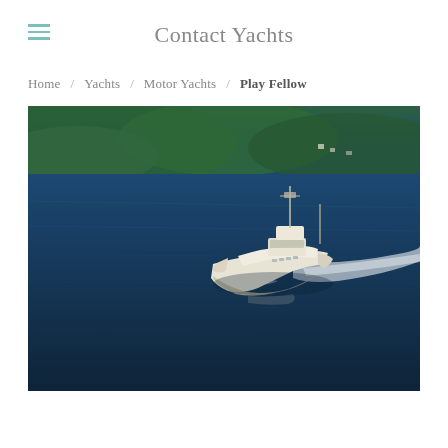Contact Yachts
Home / Yachts / Motor Yachts / Play Fellow
[Figure (photo): Aerial photograph of a classic motor yacht underway on deep blue water, creating a white wake, with a forested coastline in the background. The vessel is white/cream colored with multiple decks.]